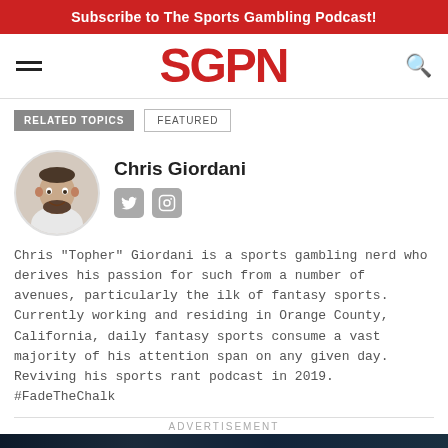Subscribe to The Sports Gambling Podcast!
[Figure (logo): SGPN logo in bold red text with hamburger menu icon on left and search icon on right]
RELATED TOPICS   FEATURED
Chris Giordani
Chris "Topher" Giordani is a sports gambling nerd who derives his passion for such from a number of avenues, particularly the ilk of fantasy sports. Currently working and residing in Orange County, California, daily fantasy sports consume a vast majority of his attention span on any given day. Reviving his sports rant podcast in 2019. #FadeTheChalk
ADVERTISEMENT